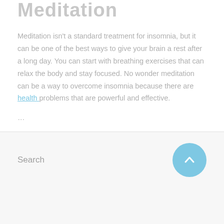Meditation
Meditation isn't a standard treatment for insomnia, but it can be one of the best ways to give your brain a rest after a long day. You can start with breathing exercises that can relax the body and stay focused. No wonder meditation can be a way to overcome insomnia because there are health problems that are powerful and effective.
...
Search